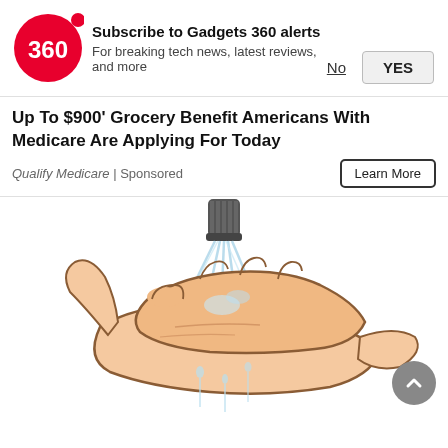[Figure (logo): Gadgets 360 red circular logo with '360' text and red dot]
Subscribe to Gadgets 360 alerts
For breaking tech news, latest reviews, and more
No   YES
Up To $900' Grocery Benefit Americans With Medicare Are Applying For Today
Qualify Medicare | Sponsored
Learn More
[Figure (illustration): Cartoon illustration of hands being washed under running water from a faucet/showerhead]